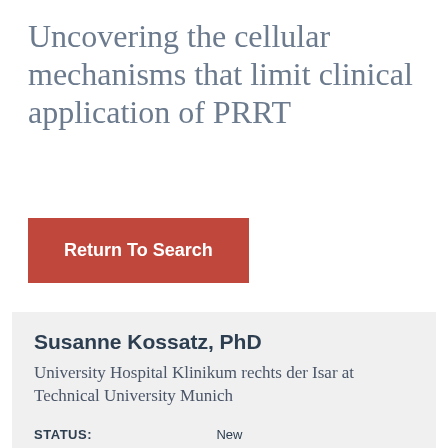Uncovering the cellular mechanisms that limit clinical application of PRRT
Return To Search
Susanne Kossatz, PhD
University Hospital Klinikum rechts der Isar at Technical University Munich
| Field | Value |
| --- | --- |
| STATUS: | New |
| YEAR(S): | 2020 |
| GRANT TYPE: | Collaborative |